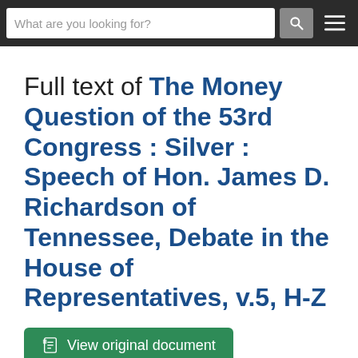What are you looking for?
Full text of The Money Question of the 53rd Congress : Silver : Speech of Hon. James D. Richardson of Tennessee, Debate in the House of Representatives, v.5, H-Z
View original document
The full text on this page is automatically extracted from the file linked above and may contain errors and